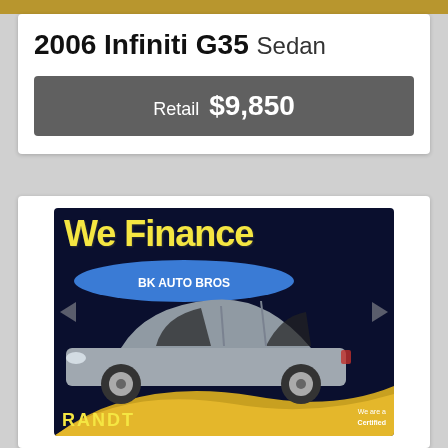2006 Infiniti G35 Sedan
Retail $9,850
[Figure (photo): Dealer advertisement photo showing a 2006 Infiniti G35 Sedan in silver/grey color parked in front of a dealership. The ad has a dark navy background with 'We Finance' in large yellow text at the top, a blue arc banner behind the car, yellow curved stripe at the bottom, and partial dealership branding 'RANDT' visible at the bottom along with 'We are a Certified' text and a small mascot image.]